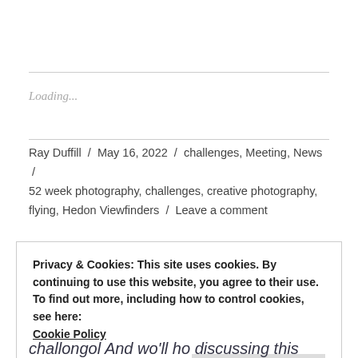Loading...
Ray Duffill / May 16, 2022 / challenges, Meeting, News / 52 week photography, challenges, creative photography, flying, Hedon Viewfinders / Leave a comment
Privacy & Cookies: This site uses cookies. By continuing to use this website, you agree to their use.
To find out more, including how to control cookies, see here:
Cookie Policy
Close and accept
chollongol And wo'll ho discussing this